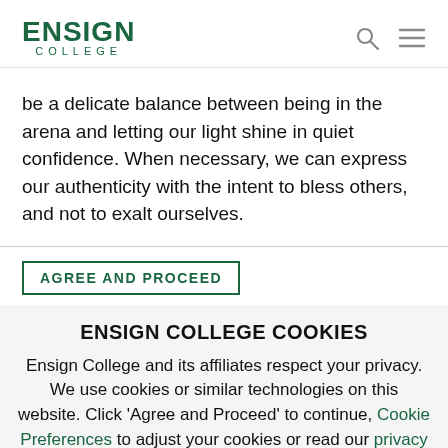[Figure (logo): Ensign College logo with green bold text ENSIGN above and COLLEGE in spaced letters]
be a delicate balance between being in the arena and letting our light shine in quiet confidence. When necessary, we can express our authenticity with the intent to bless others, and not to exalt ourselves.
AGREE AND PROCEED
ENSIGN COLLEGE COOKIES
Ensign College and its affiliates respect your privacy. We use cookies or similar technologies on this website. Click 'Agree and Proceed' to continue, Cookie Preferences to adjust your cookies or read our privacy policy.